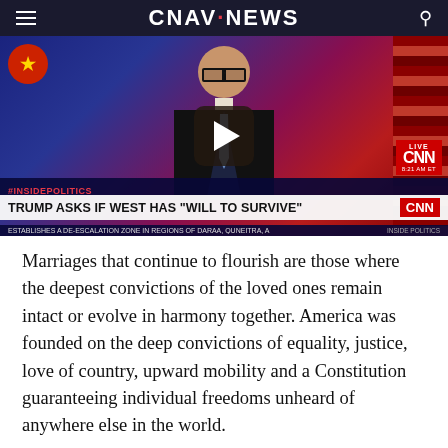CNAV NEWS
[Figure (screenshot): CNN news broadcast screenshot showing anchor with lower-third chyron: #INSIDEPOLITICS | TRUMP ASKS IF WEST HAS 'WILL TO SURVIVE' | ESTABLISHES A DE-ESCALATION ZONE IN REGIONS OF DARAA, QUNEITRA, A... | LIVE | CNN | 8:21 AM ET | INSIDE POLITICS. Video play button overlay visible.]
Marriages that continue to flourish are those where the deepest convictions of the loved ones remain intact or evolve in harmony together. America was founded on the deep convictions of equality, justice, love of country, upward mobility and a Constitution guaranteeing individual freedoms unheard of anywhere else in the world.
Generations of immigrants from all over the world have